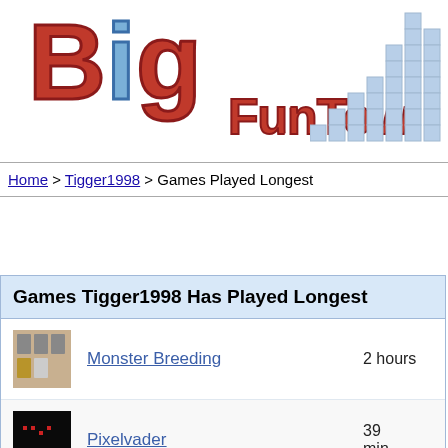[Figure (logo): BigFunTown website logo with large colorful Big text and bar chart graphic]
Home > Tigger1998 > Games Played Longest
Games Tigger1998 Has Played Longest
Monster Breeding  2 hours
Pixelvader  39 minutes